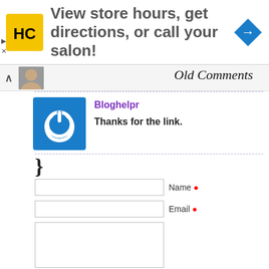[Figure (screenshot): Ad banner with HC salon logo (yellow square with HC letters), text 'View store hours, get directions, or call your salon!', and a blue navigation diamond arrow icon on the right.]
Old Comments
[Figure (illustration): Blue square avatar with white power-button icon representing Bloghelpr commenter]
Bloghelpr
Thanks for the link.
}
Name *
Email *
Submit Comment